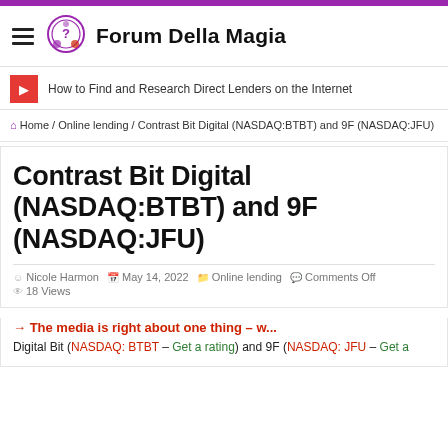Forum Della Magia
How to Find and Research Direct Lenders on the Internet
🏠 Home / Online lending / Contrast Bit Digital (NASDAQ:BTBT) and 9F (NASDAQ:JFU)
Contrast Bit Digital (NASDAQ:BTBT) and 9F (NASDAQ:JFU)
Nicole Harmon   May 14, 2022   Online lending   Comments Off   18 Views
→ The media is right about one thing – w...
Digital Bit (NASDAQ: BTBT – Get a rating) and 9F (NASDAQ: JFU – Get a